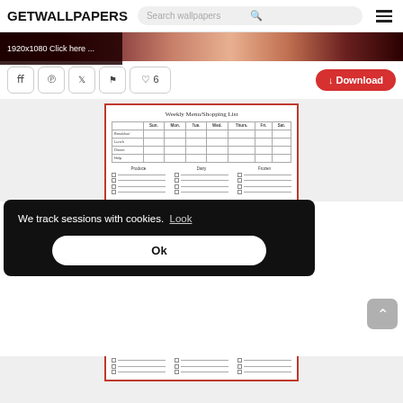GETWALLPAPERS
[Figure (screenshot): Search bar with placeholder 'Search wallpapers' and a hamburger menu icon]
[Figure (photo): Dark red/brown gradient banner with text '1920x1080 Click here ...']
[Figure (screenshot): Social sharing buttons: Facebook, Pinterest, Twitter, Flag, Heart with count 6, and a red Download button]
[Figure (illustration): Preview of a 'Weekly Menu/Shopping List' template with a weekly table (Breakfast, Lunch, Dinner, Help rows and Sun-Sat columns) and shopping sections for Produce, Dairy, Frozen]
We track sessions with cookies.  Look
Ok